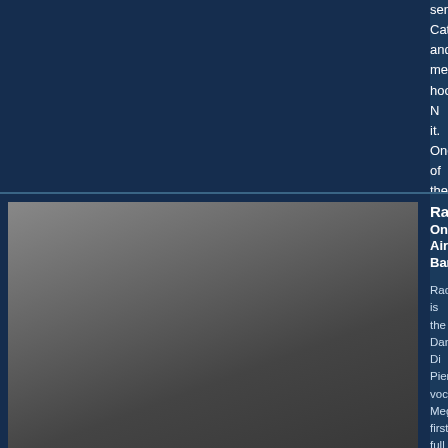sensibilities. Catchy and memorable hooks. N... it. One of the most exciting live rock shows fro...
[Figure (photo): Black and white photo of two people outdoors among trees; man crouching wearing sunglasses and white t-shirt, woman standing in black top. Text 'radiolab' overlaid at bottom.]
Radiolab
On-Air Band/A...
Radiolab is the... Dane Di Pierro... vocalist Megha... first full length.
The band's sou... experimental ro... release their de...
[Figure (photo): Color photo of a large pink rose petal with text overlay reading '(Won't G) Anymore....' on a blurred background.]
Genya Ra...
On-Air Ba...
"I Won't C... written an... with the v...